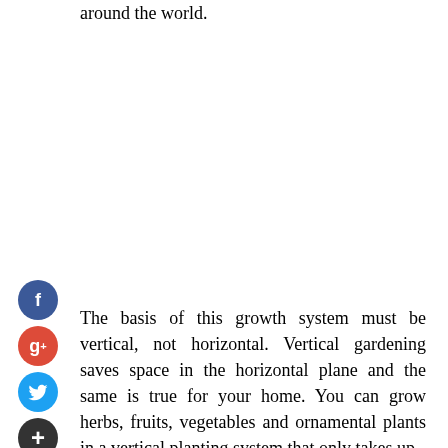around the world.
[Figure (other): Social media icons: Facebook (blue circle with f), Google+ (red circle with g+), Twitter (light blue circle with bird), Add/share (dark circle with +)]
The basis of this growth system must be vertical, not horizontal. Vertical gardening saves space in the horizontal plane and the same is true for your home. You can grow herbs, fruits, vegetables and ornamental plants in a vertical planting system that only takes up